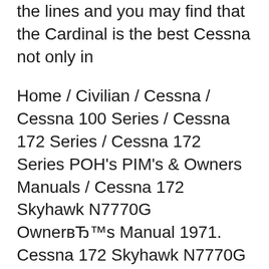the lines and you may find that the Cardinal is the best Cessna not only in
Home / Civilian / Cessna / Cessna 100 Series / Cessna 172 Series / Cessna 172 Series POH's PIM's & Owners Manuals / Cessna 172 Skyhawk N7770G OwnerвЂ™s Manual 1971. Cessna 172 Skyhawk N7770G OwnerвЂ™s Manual 1971 $ 6.95. Available Options: Version: Cessna 172 Skyhawk N7770G Cessna Cardinal RG Series (1) Cessna FR172H Reims Rockets (4 This Cessna Model 177 & Cardinal Owners Manual describes the operation and performance of both the Cessna Model 177 and the Cardinal. It includes needed instructions to maintain and